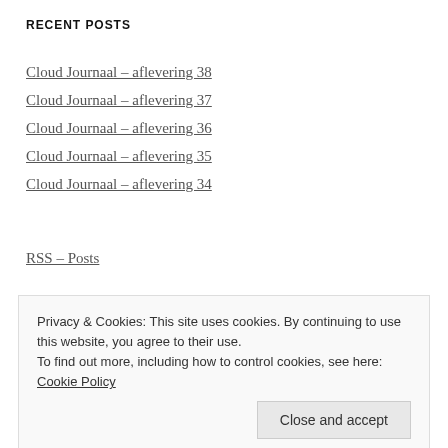RECENT POSTS
Cloud Journaal – aflevering 38
Cloud Journaal – aflevering 37
Cloud Journaal – aflevering 36
Cloud Journaal – aflevering 35
Cloud Journaal – aflevering 34
RSS – Posts
Privacy & Cookies: This site uses cookies. By continuing to use this website, you agree to their use. To find out more, including how to control cookies, see here: Cookie Policy